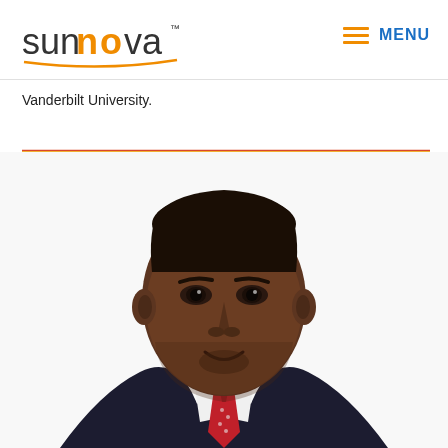Sunnova — MENU
Vanderbilt University.
[Figure (photo): Professional headshot portrait of a man in a dark pinstripe suit with a red tie and white dress shirt, against a white background.]